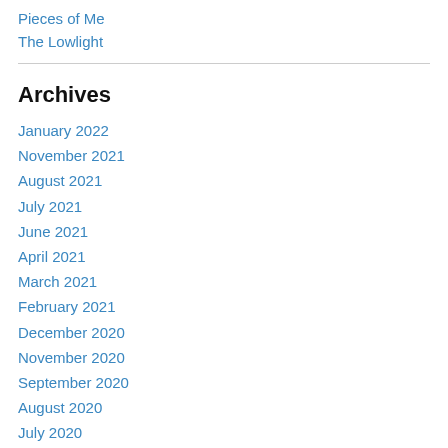Pieces of Me
The Lowlight
Archives
January 2022
November 2021
August 2021
July 2021
June 2021
April 2021
March 2021
February 2021
December 2020
November 2020
September 2020
August 2020
July 2020
May 2020